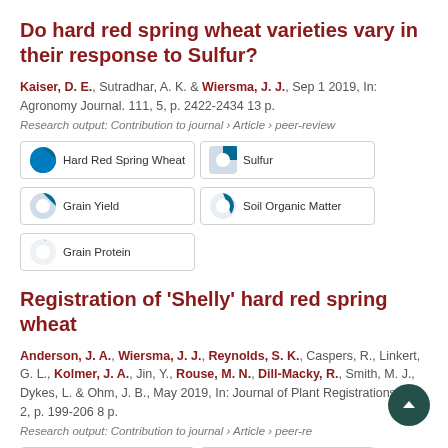Do hard red spring wheat varieties vary in their response to Sulfur?
Kaiser, D. E., Sutradhar, A. K. & Wiersma, J. J., Sep 1 2019, In: Agronomy Journal. 111, 5, p. 2422-2434 13 p.
Research output: Contribution to journal › Article › peer-review
Hard Red Spring Wheat
Sulfur
Grain Yield
Soil Organic Matter
Grain Protein
Registration of 'Shelly' hard red spring wheat
Anderson, J. A., Wiersma, J. J., Reynolds, S. K., Caspers, R., Linkert, G. L., Kolmer, J. A., Jin, Y., Rouse, M. N., Dill-Macky, R., Smith, M. J., Dykes, L. & Ohm, J. B., May 2019, In: Journal of Plant Registrations. 13, 2, p. 199-206 8 p.
Research output: Contribution to journal › Article › peer-review
Hard Red Spring Wheat
Triticum